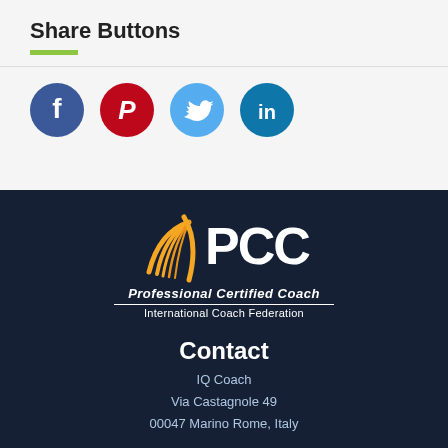Share Buttons
[Figure (other): Four social media share buttons: Facebook (blue circle with f), Pinterest (red circle with P), Twitter (light blue circle with bird), LinkedIn (teal circle with in)]
[Figure (logo): PCC Professional Certified Coach - International Coach Federation logo with orange swoosh graphic on dark navy background]
Contact
IQ Coach
Via Castagnole 49
00047 Marino Rome, Italy